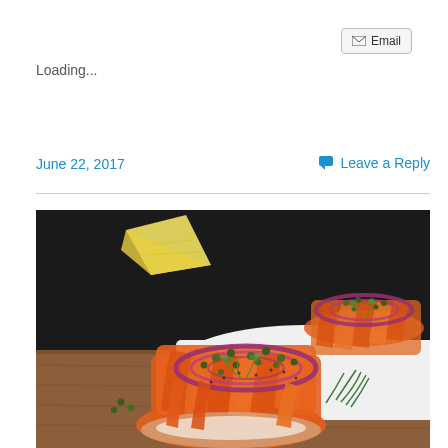Email
Loading...
June 22, 2017
Leave a Reply
[Figure (photo): Food photo showing vegan lox made from carrots, topped with red onion rings, capers, and fresh dill, served on bagels on a white plate with a wooden cutting board background and lemon wedge.]